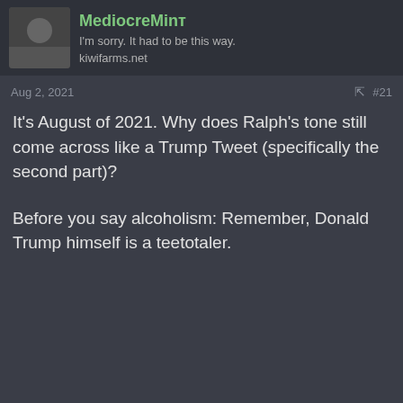MediocreMinт
I'm sorry. It had to be this way.
kiwifarms.net
Aug 2, 2021
#21
It's August of 2021. Why does Ralph's tone still come across like a Trump Tweet (specifically the second part)?
Before you say alcoholism: Remember, Donald Trump himself is a teetotaler.